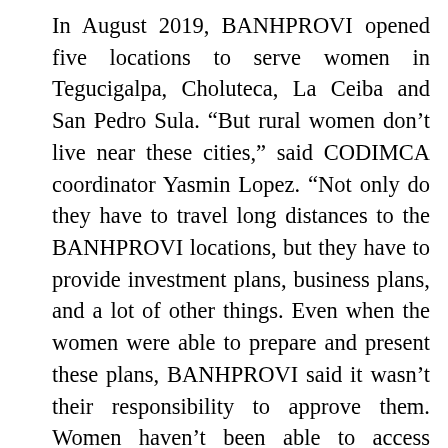In August 2019, BANHPROVI opened five locations to serve women in Tegucigalpa, Choluteca, La Ceiba and San Pedro Sula. “But rural women don’t live near these cities,” said CODIMCA coordinator Yasmin Lopez. “Not only do they have to travel long distances to the BANHPROVI locations, but they have to provide investment plans, business plans, and a lot of other things. Even when the women were able to prepare and present these plans, BANHPROVI said it wasn’t their responsibility to approve them. Women haven’t been able to access financing through that program,” she said, adding that although there is a budget allocation of 35 million lempiras, there is no political will to create a trust to administer these funds.